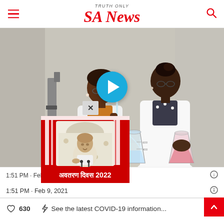SA News — TRUTH ONLY
[Figure (screenshot): Two African women scientists in white lab coats working in a laboratory, one holding a glass tube and the other holding a beaker with pink liquid. A blue play button overlay is in the center. A red ad overlay in the bottom-left shows a person speaking at a podium with Hindi text 'अवतरण दिवस 2022'. A close (X) button sits above the ad overlay.]
1:51 PM · Feb 9, 2021
630  See the latest COVID-19 information...